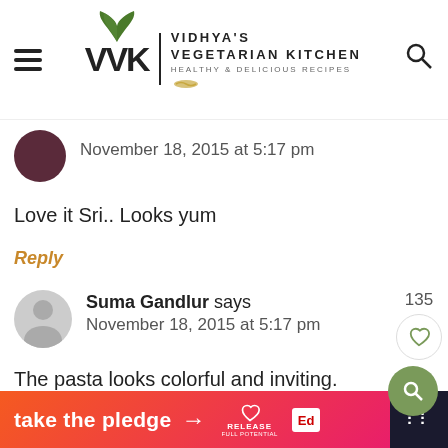Vidhya's Vegetarian Kitchen — Healthy & Delicious Recipes
November 18, 2015 at 5:17 pm
Love it Sri.. Looks yum
Reply
Suma Gandlur says November 18, 2015 at 5:17 pm
135
The pasta looks colorful and inviting.
[Figure (infographic): Take the pledge advertisement banner with orange-pink gradient, arrow, Release logo, and Ed badge]